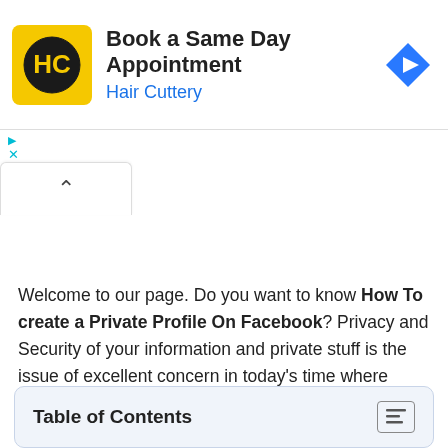[Figure (screenshot): Hair Cuttery advertisement banner with yellow logo, 'Book a Same Day Appointment' headline, 'Hair Cuttery' subtitle in blue, and a blue diamond navigation icon on the right.]
[Figure (screenshot): Up-arrow collapsed tab/accordion button.]
Welcome to our page. Do you want to know How To create a Private Profile On Facebook? Privacy and Security of your information and private stuff is the issue of excellent concern in today's time where individuals are indulging much more in the on the internet digital world.
Table of Contents